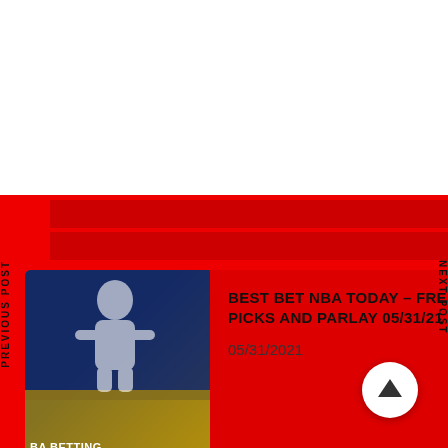PREVIOUS POST
NEXT POST
[Figure (photo): NBA betting free picks card with basketball players silhouette on blue and gold background]
BEST BET NBA TODAY – FREE EXPERT PICKS AND PARLAY 05/31/21
05/31/2021
[Figure (photo): NHL expert free picks card with hockey player image on orange background with 100% text]
BEST BET NHL – EXPERT FREE PICKS AND PARLAY 05/31/21